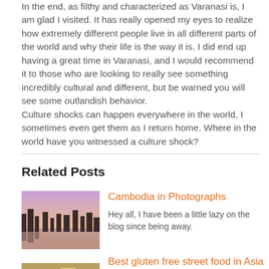In the end, as filthy and characterized as Varanasi is, I am glad I visited. It has really opened my eyes to realize how extremely different people live in all different parts of the world and why their life is the way it is. I did end up having a great time in Varanasi, and I would recommend it to those who are looking to really see something incredibly cultural and different, but be warned you will see some outlandish behavior. Culture shocks can happen everywhere in the world, I sometimes even get them as I return home. Where in the world have you witnessed a culture shock?
Related Posts
[Figure (photo): Thumbnail photo of Cambodia landscape at sunset with trees reflected in water, purple/pink sky]
Cambodia in Photographs
Hey all, I have been a little lazy on the blog since being away.
[Figure (photo): Thumbnail photo of gluten free street food in Asia, showing colorful food items]
Best gluten free street food in Asia
I know what you must be thinking. How on the